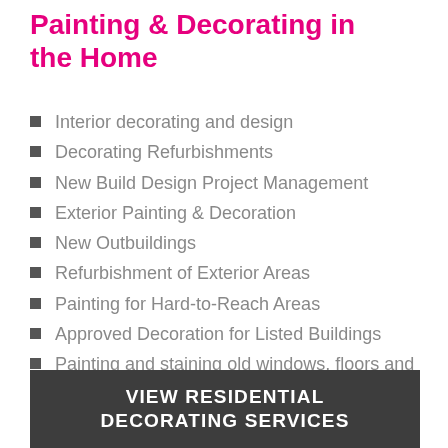Painting & Decorating in the Home
Interior decorating and design
Decorating Refurbishments
New Build Design Project Management
Exterior Painting & Decoration
New Outbuildings
Refurbishment of Exterior Areas
Painting for Hard-to-Reach Areas
Approved Decoration for Listed Buildings
Painting and staining old windows, floors and doors
Maintenance & Repairs
VIEW RESIDENTIAL DECORATING SERVICES